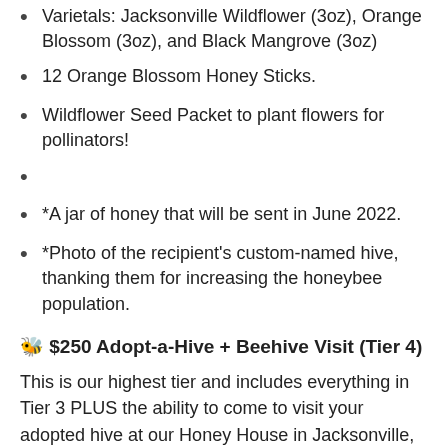Varietals: Jacksonville Wildflower (3oz), Orange Blossom (3oz), and Black Mangrove (3oz)
12 Orange Blossom Honey Sticks.
Wildflower Seed Packet to plant flowers for pollinators!
*A jar of honey that will be sent in June 2022.
*Photo of the recipient’s custom-named hive, thanking them for increasing the honeybee population.
🐝 $250 Adopt-a-Hive + Beehive Visit (Tier 4)
This is our highest tier and includes everything in Tier 3 PLUS the ability to come to visit your adopted hive at our Honey House in Jacksonville, Florida. Visits will be